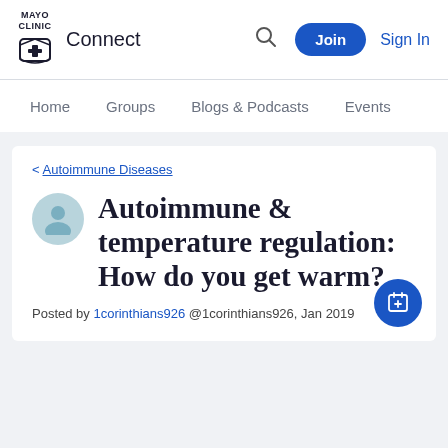MAYO CLINIC Connect — Join | Sign In
Home   Groups   Blogs & Podcasts   Events
< Autoimmune Diseases
Autoimmune & temperature regulation: How do you get warm?
Posted by 1corinthians926 @1corinthians926, Jan 2019